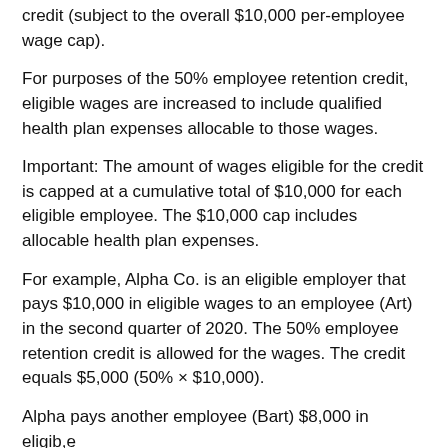credit (subject to the overall $10,000 per-employee wage cap).
For purposes of the 50% employee retention credit, eligible wages are increased to include qualified health plan expenses allocable to those wages.
Important: The amount of wages eligible for the credit is capped at a cumulative total of $10,000 for each eligible employee. The $10,000 cap includes allocable health plan expenses.
For example, Alpha Co. is an eligible employer that pays $10,000 in eligible wages to an employee (Art) in the second quarter of 2020. The 50% employee retention credit is allowed for the wages. The credit equals $5,000 (50% × $10,000).
Alpha pays another employee (Bart) $8,000 in eligible